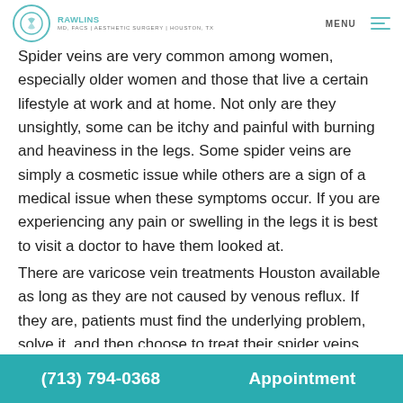RAWLINS MD, FACS | AESTHETIC SURGERY | HOUSTON, TX — MENU
Spider veins are very common among women, especially older women and those that live a certain lifestyle at work and at home. Not only are they unsightly, some can be itchy and painful with burning and heaviness in the legs. Some spider veins are simply a cosmetic issue while others are a sign of a medical issue when these symptoms occur. If you are experiencing any pain or swelling in the legs it is best to visit a doctor to have them looked at.
There are varicose vein treatments Houston available as long as they are not caused by venous reflux. If they are, patients must find the underlying problem, solve it, and then choose to treat their spider veins. For the most part, spider
(713) 794-0368  Appointment